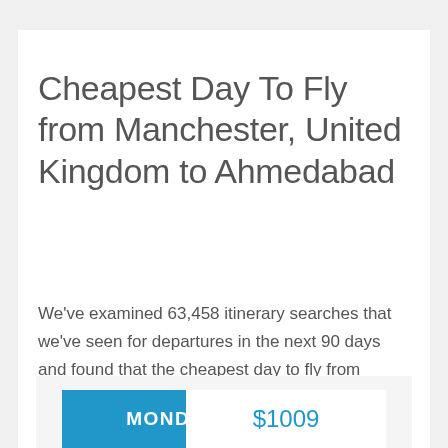Cheapest Day To Fly from Manchester, United Kingdom to Ahmedabad
We've examined 63,458 itinerary searches that we've seen for departures in the next 90 days and found that the cheapest day to fly from Manchester, United Kingdom to Ahmedabad is Sunday. See the chart below to compare prices for other days of the week.
| Day | Price |
| --- | --- |
| MONDAY | $1009 |